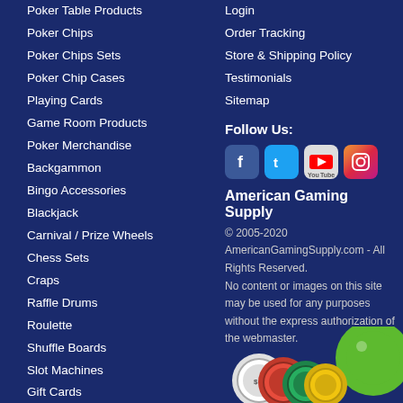Poker Table Products
Poker Chips
Poker Chips Sets
Poker Chip Cases
Playing Cards
Game Room Products
Poker Merchandise
Backgammon
Bingo Accessories
Blackjack
Carnival / Prize Wheels
Chess Sets
Craps
Raffle Drums
Roulette
Shuffle Boards
Slot Machines
Gift Cards
Login
Order Tracking
Store & Shipping Policy
Testimonials
Sitemap
Follow Us:
[Figure (other): Social media icons: Facebook, Twitter, YouTube, Instagram]
American Gaming Supply
© 2005-2020 AmericanGamingSupply.com - All Rights Reserved. No content or images on this site may be used for any purposes without the express authorization of the webmaster.
[Figure (illustration): Poker chips and bingo ball decorative image at bottom]